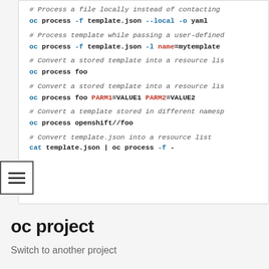# Process a file locally instead of contacting
oc process -f template.json --local -o yaml
# Process template while passing a user-defined
oc process -f template.json -l name=mytemplate
# Convert a stored template into a resource lis
oc process foo
# Convert a stored template into a resource lis
oc process foo PARM1=VALUE1 PARM2=VALUE2
# Convert a template stored in different namesp
oc process openshift//foo
# Convert template.json into a resource list
cat template.json | oc process -f -
oc project
Switch to another project